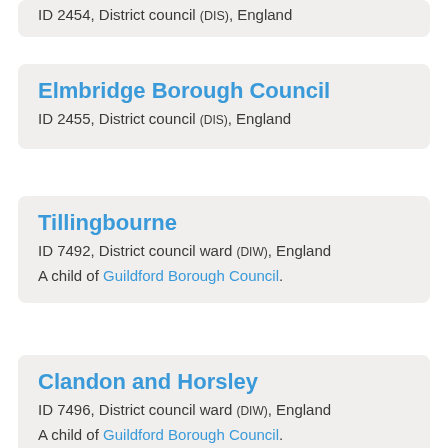ID 2454, District council (DIS), England
Elmbridge Borough Council
ID 2455, District council (DIS), England
Tillingbourne
ID 7492, District council ward (DIW), England
A child of Guildford Borough Council.
Clandon and Horsley
ID 7496, District council ward (DIW), England
A child of Guildford Borough Council.